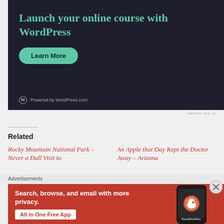[Figure (illustration): WordPress.com advertisement with dark navy background. Title reads 'Launch your online course with WordPress' in teal serif font. Green teal 'Learn More' pill button below. WordPress logo and 'Powered by WordPress.com' text at bottom left.]
REPORT THIS AD
Related
Rocky Mountain National Park – Never a Dull Visit to
An Apple that Day Kept the Doctor Away – Arizona
Advertisements
[Figure (illustration): DuckDuckGo advertisement with orange/red background. Text reads 'Search, browse, and email with more privacy. All in One Free App' with white button. Phone image on right shows DuckDuckGo app.]